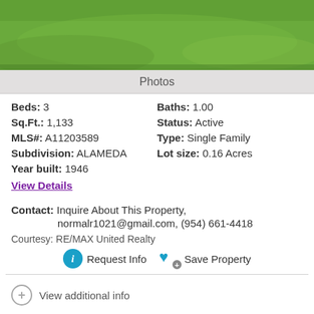[Figure (photo): Green lawn/grass yard photo strip at top of listing]
Photos
Beds: 3   Baths: 1.00
Sq.Ft.: 1,133   Status: Active
MLS#: A11203589   Type: Single Family
Subdivision: ALAMEDA   Lot size: 0.16 Acres
Year built: 1946
View Details
Contact: Inquire About This Property, normalr1021@gmail.com, (954) 661-4418
Courtesy: RE/MAX United Realty
Request Info   Save Property
View additional info
$1,799,900